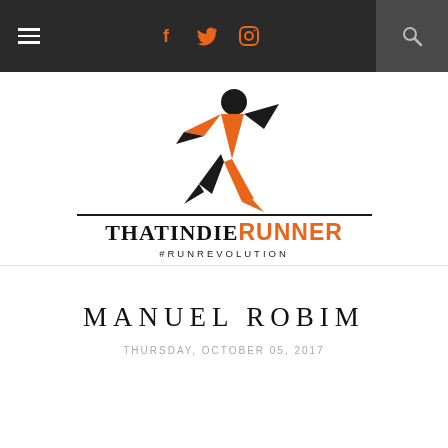Navigation bar with hamburger menu, social icons (f, twitter, instagram), and search
[Figure (logo): ThatIndieRunner logo: running figure in orange and black above the text THATINDIERUNNER #RUNREVOLUTION]
MANUEL ROBIM
THURSDAY, OCTOBER 05, 2017